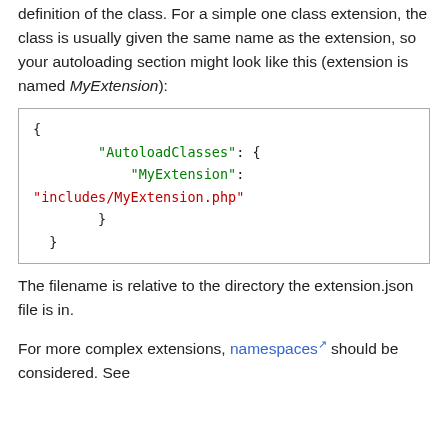definition of the class. For a simple one class extension, the class is usually given the same name as the extension, so your autoloading section might look like this (extension is named MyExtension):
{ "AutoloadClasses": { "MyExtension": "includes/MyExtension.php" } }
The filename is relative to the directory the extension.json file is in.
For more complex extensions, namespaces should be considered. See